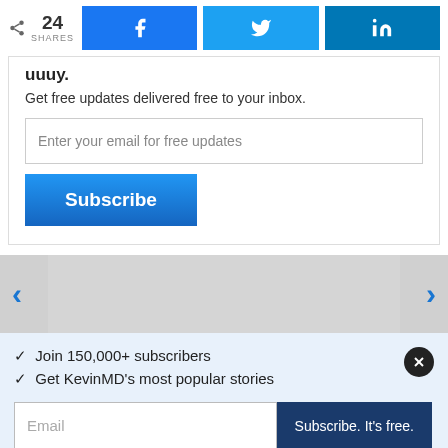24 SHARES
Get free updates delivered free to your inbox.
Enter your email for free updates
Subscribe
✓ Join 150,000+ subscribers
✓ Get KevinMD's most popular stories
Email
Subscribe. It's free.